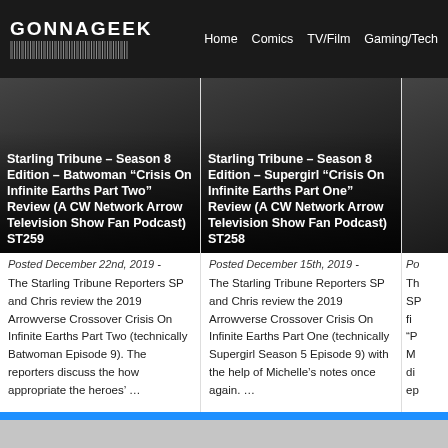GONNAGEEK — Home | Comics | TV/Film | Gaming/Tech
[Figure (screenshot): Article thumbnail dark background for Starling Tribune Season 8 Edition Batwoman Crisis On Infinite Earths Part Two]
Starling Tribune – Season 8 Edition – Batwoman “Crisis On Infinite Earths Part Two” Review (A CW Network Arrow Television Show Fan Podcast) ST259
Posted December 22nd, 2019 -
The Starling Tribune Reporters SP and Chris review the 2019 Arrowverse Crossover Crisis On Infinite Earths Part Two (technically Batwoman Episode 9). The reporters discuss the how appropriate the heroes’ …
[Figure (screenshot): Article thumbnail dark background for Starling Tribune Season 8 Edition Supergirl Crisis On Infinite Earths Part One]
Starling Tribune – Season 8 Edition – Supergirl “Crisis On Infinite Earths Part One” Review (A CW Network Arrow Television Show Fan Podcast) ST258
Posted December 15th, 2019 -
The Starling Tribune Reporters SP and Chris review the 2019 Arrowverse Crossover Crisis On Infinite Earths Part One (technically Supergirl Season 5 Episode 9) with the help of Michelle’s notes once again. …
[Figure (screenshot): Partial third article thumbnail clipped at right edge]
Po…
Th SP fi “P M di ep…